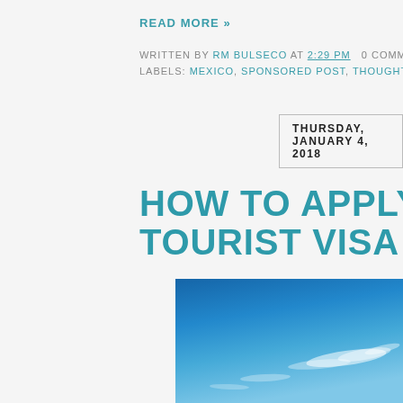READ MORE »
WRITTEN BY RM BULSECO AT 2:29 PM   0 COMMENT
LABELS: MEXICO, SPONSORED POST, THOUGHTS, WO
THURSDAY, JANUARY 4, 2018
HOW TO APPLY FOR A TOURIST VISA IN TH
[Figure (photo): Blue sky with scattered clouds, partial view of photograph]